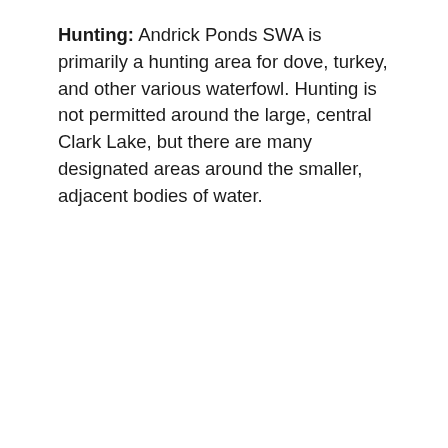Hunting: Andrick Ponds SWA is primarily a hunting area for dove, turkey, and other various waterfowl. Hunting is not permitted around the large, central Clark Lake, but there are many designated areas around the smaller, adjacent bodies of water.